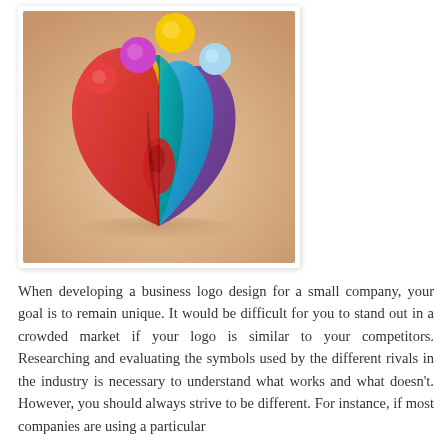[Figure (illustration): Colorful abstract logo illustration showing stylized human figures made of layered curved petals in red, yellow, teal, blue, and purple, with colored circles (red, magenta, yellow, light blue) above them, set against a warm beige/peach gradient background.]
When developing a business logo design for a small company, your goal is to remain unique. It would be difficult for you to stand out in a crowded market if your logo is similar to your competitors. Researching and evaluating the symbols used by the different rivals in the industry is necessary to understand what works and what doesn't. However, you should always strive to be different. For instance, if most companies are using a particular